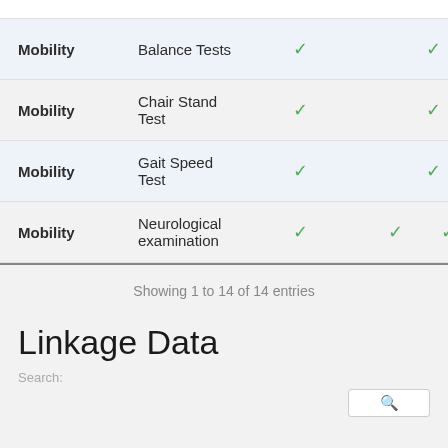| Category | Test | Check1 | Check2 | Check3 |
| --- | --- | --- | --- | --- |
| Mobility | Balance Tests | ✓ |  | ✓ |
| Mobility | Chair Stand Test | ✓ |  | ✓ |
| Mobility | Gait Speed Test | ✓ |  | ✓ |
| Mobility | Neurological examination | ✓ | ✓ | ✓ |
Showing 1 to 14 of 14 entries
Linkage Data
Search: